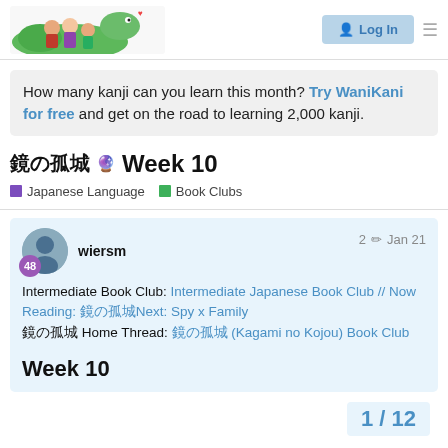WaniKani Community forum header with Log In button
How many kanji can you learn this month? Try WaniKani for free and get on the road to learning 2,000 kanji.
鏡の孤城　🔮　Week 10
Japanese Language   Book Clubs
wiersm   2 ✏   Jan 21
Intermediate Book Club: Intermediate Japanese Book Club // Now Reading: 鏡の孤城Next: Spy x Family
鏡の孤城 Home Thread: 鏡の孤城 (Kagami no Kojou) Book Club
Week 10
1 / 12